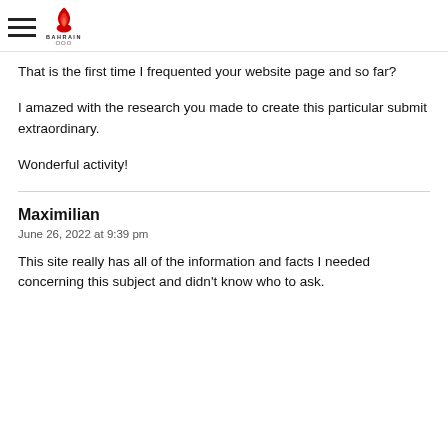Bahrain Olympic Committee
That is the first time I frequented your website page and so far?
I amazed with the research you made to create this particular submit extraordinary.
Wonderful activity!
Maximilian
June 26, 2022 at 9:39 pm
This site really has all of the information and facts I needed concerning this subject and didn't know who to ask.